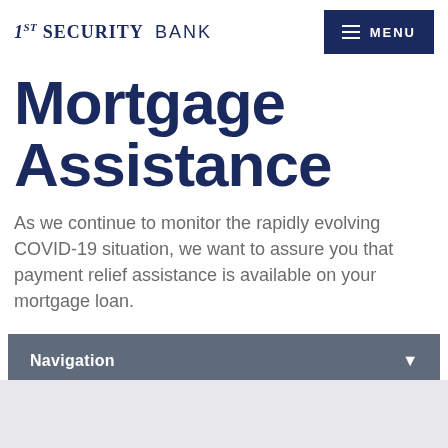1ST SECURITY BANK | MENU
Mortgage Assistance
As we continue to monitor the rapidly evolving COVID-19 situation, we want to assure you that payment relief assistance is available on your mortgage loan.
Navigation